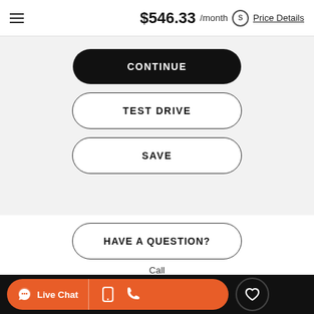$546.33 /month Price Details
CONTINUE
TEST DRIVE
SAVE
HAVE A QUESTION?
Call
Live Chat